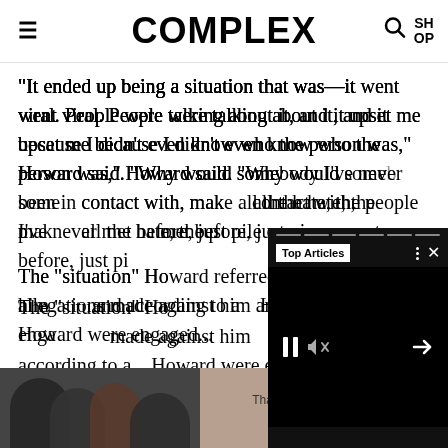COMPLEX
"It ended up being a situation that was—it went viral. People were talking about it, and it upset me because I didn't even know who the person was," Howard said. "Why would some[body I've never been in] contact with, mak[e...] all the hate, the p[eople I've never] met before, just pi[le on...]
The "situation" Ho[ward referred to were allegations] made against him [by...] and according to a[...] Howard were enga[ged...]
clai[m...] was chea[ting...] [relation]ship
[Figure (screenshot): Video player overlay with 'Top Articles' label, pause and mute controls, and a next arrow on a black background with progress bar segments at top]